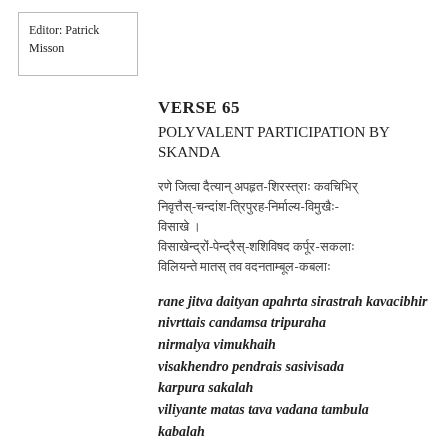Editor: Patrick Misson
VERSE 65
POLYVALENT PARTICIPATION BY SKANDA
Sanskrit verse text (Devanagari script lines)
rane jitva daityan apahrta sirastrah kavacibhir
nivrttais candamsa tripuraha nirmalya vimukhaih
visakhendro pendrais sasivisada karpura sakalah
viliyante matas tava vadana tambula kabalah